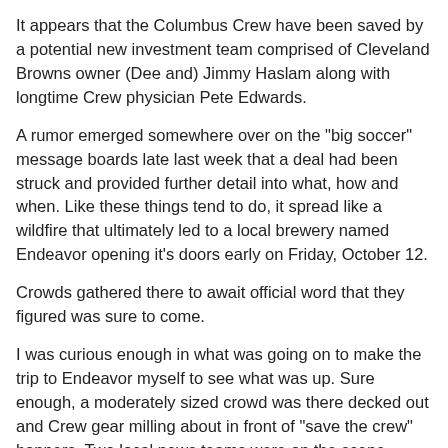It appears that the Columbus Crew have been saved by a potential new investment team comprised of Cleveland Browns owner (Dee and) Jimmy Haslam along with longtime Crew physician Pete Edwards.
A rumor emerged somewhere over on the "big soccer" message boards late last week that a deal had been struck and provided further detail into what, how and when. Like these things tend to do, it spread like a wildfire that ultimately led to a local brewery named Endeavor opening it's doors early on Friday, October 12.
Crowds gathered there to await official word that they figured was sure to come.
I was curious enough in what was going on to make the trip to Endeavor myself to see what was up. Sure enough, a moderately sized crowd was there decked out and Crew gear milling about in front of "save the crew" banners. Two local news teams were on the scene (channel 10 and ABC 6) to cover the action, as well.